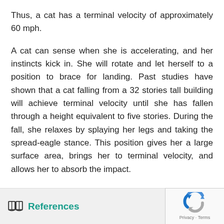Thus, a cat has a terminal velocity of approximately 60 mph.
A cat can sense when she is accelerating, and her instincts kick in. She will rotate and let herself to a position to brace for landing. Past studies have shown that a cat falling from a 32 stories tall building will achieve terminal velocity until she has fallen through a height equivalent to five stories. During the fall, she relaxes by splaying her legs and taking the spread-eagle stance. This position gives her a large surface area, brings her to terminal velocity, and allows her to absorb the impact.
References